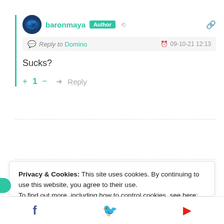baronmaya Author
Reply to Domino  09-10-21 12:13
Sucks?
+ 1 —  Reply
Privacy & Cookies: This site uses cookies. By continuing to use this website, you agree to their use.
To find out more, including how to control cookies, see here: Cookie Policy
Close and accept